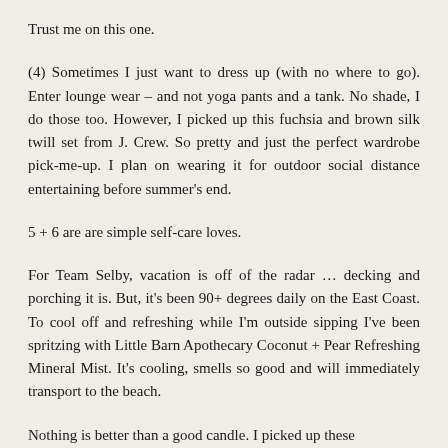Trust me on this one.
(4) Sometimes I just want to dress up (with no where to go). Enter lounge wear – and not yoga pants and a tank. No shade, I do those too. However, I picked up this fuchsia and brown silk twill set from J. Crew. So pretty and just the perfect wardrobe pick-me-up. I plan on wearing it for outdoor social distance entertaining before summer's end.
5 + 6 are are simple self-care loves.
For Team Selby, vacation is off of the radar … decking and porching it is. But, it's been 90+ degrees daily on the East Coast. To cool off and refreshing while I'm outside sipping I've been spritzing with Little Barn Apothecary Coconut + Pear Refreshing Mineral Mist. It's cooling, smells so good and will immediately transport to the beach.
Nothing is better than a good candle. I picked up these